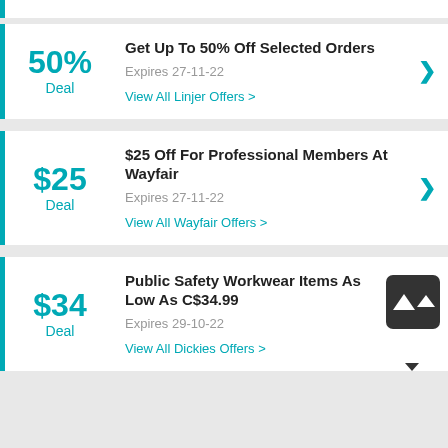50% Deal — Get Up To 50% Off Selected Orders — Expires 27-11-22 — View All Linjer Offers
$25 Deal — $25 Off For Professional Members At Wayfair — Expires 27-11-22 — View All Wayfair Offers
$34 Deal — Public Safety Workwear Items As Low As C$34.99 — Expires 29-10-22 — View All Dickies Offers